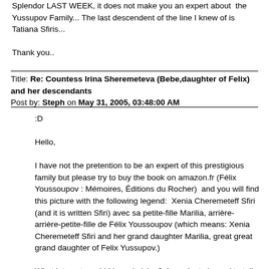Splendor LAST WEEK, it does not make you an expert about the Yussupov Family... The last descendent of the line I knew of is Tatiana Sfiris...
Thank you..
Title: Re: Countess Irina Sheremeteva (Bebe,daughter of Felix) and her descendants
Post by: Steph on May 31, 2005, 03:48:00 AM
:D
Hello,
I have not the pretention to be an expert of this prestigious family but please try to buy the book on amazon.fr (Félix Youssoupov : Mémoires, Éditions du Rocher)  and you will find this picture with the following legend:  Xenia Cheremeteff Sfiri (and it is written Sfiri) avec sa petite-fille Marilia, arrière-arrière-petite-fille de Félix Youssoupov (which means: Xenia Cheremeteff Sfiri and her grand daughter Marilia, great great grand daughter of Felix Yussupov.)
What interest would I have in lying?  I was just pleased to tell you all that the line is yet not broken and I wanted to share this joy with you. That's all. It can so easily be proved. Why should I ly ?
It is a friction it is a re...